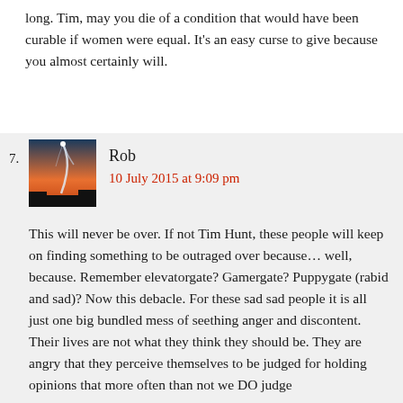long. Tim, may you die of a condition that would have been curable if women were equal. It's an easy curse to give because you almost certainly will.
7. Rob
10 July 2015 at 9:09 pm
This will never be over. If not Tim Hunt, these people will keep on finding something to be outraged over because… well, because. Remember elevatorgate? Gamergate? Puppygate (rabid and sad)? Now this debacle. For these sad sad people it is all just one big bundled mess of seething anger and discontent. Their lives are not what they think they should be. They are angry that they perceive themselves to be judged for holding opinions that more often than not we DO judge them for holding. The reason they're judged is that...